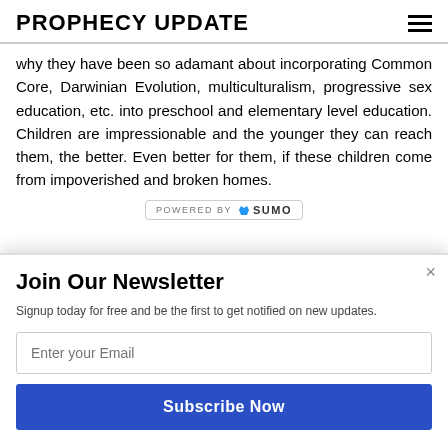PROPHECY UPDATE
why they have been so adamant about incorporating Common Core, Darwinian Evolution, multiculturalism, progressive sex education, etc. into preschool and elementary level education. Children are impressionable and the younger they can reach them, the better. Even better for them, if these children come from impoverished and broken homes.
[Figure (logo): Powered by SUMO badge with crown logo]
Join Our Newsletter
Signup today for free and be the first to get notified on new updates.
Enter your Email
Subscribe Now